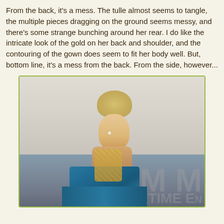From the back, it's a mess. The tulle almost seems to tangle, the multiple pieces dragging on the ground seems messy, and there's some strange bunching around her rear. I do like the intricate look of the gold on her back and shoulder, and the contouring of the gown does seem to fit her body well. But, bottom line, it's a mess from the back. From the side, however...
[Figure (photo): A blonde woman wearing a teal/blue gown with gold lace detailing on the back and shoulder, photographed from behind/side angle at what appears to be a red carpet event. Watermark reads THECOUNT.COM. Background shows large letters M and text METIME E...]